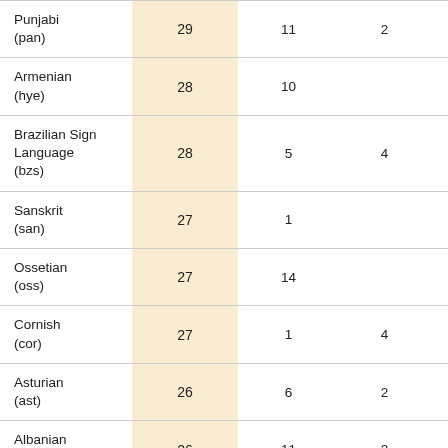| Language |  |  |  |  |
| --- | --- | --- | --- | --- |
| Punjabi (pan) | 29 | 11 | 2 | 10 |
| Armenian (hye) | 28 | 10 |  | 12 |
| Brazilian Sign Language (bzs) | 28 | 5 | 4 | 13 |
| Sanskrit (san) | 27 | 1 |  | 21 |
| Ossetian (oss) | 27 | 14 |  | 10 |
| Cornish (cor) | 27 | 1 | 4 | 19 |
| Asturian (ast) | 26 | 6 | 2 | 11 |
| Albanian (sqi) | 26 | 11 | 3 | 8 |